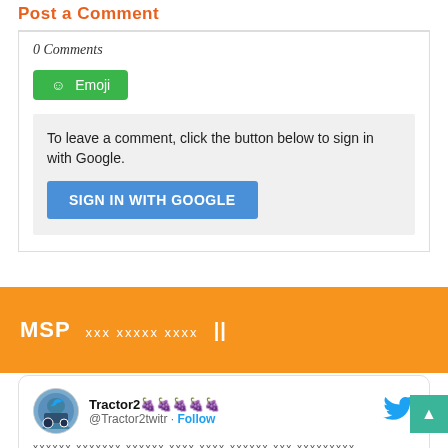Post a Comment
0 Comments
[Figure (other): Green Emoji button with smiley face icon]
To leave a comment, click the button below to sign in with Google.
[Figure (other): SIGN IN WITH GOOGLE blue button]
MSP xxx xxxxx xxxx II
[Figure (other): Twitter card with Tractor2 user avatar, handle @Tractor2twitr, Follow link, and Twitter bird logo]
xxxxxx xxxxxxx xxxxxx xxxx xxxx xxxxxx xxx xxxxxxxxx